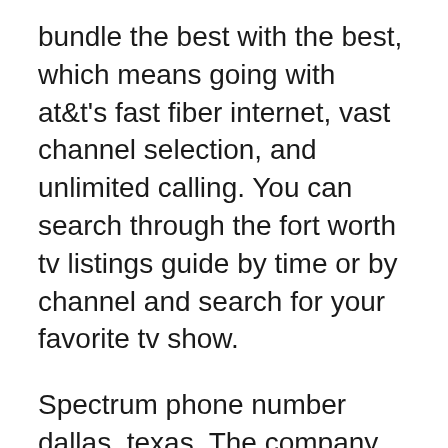bundle the best with the best, which means going with at&t's fast fiber internet, vast channel selection, and unlimited calling. You can search through the fort worth tv listings guide by time or by channel and search for your favorite tv show.
Spectrum phone number dallas, texas. The company offers dallas residents up to 75 channels and deals start at $39.99 to $114.99 per month. Check out american tv tonight for all local channels, including cable, satellite and over the air.
Dallas, tx local tv listings. Directv deals for march 2021 in dallas, or 97338. Learn about the service availability in your area, the most popular packages or top speeds, and the